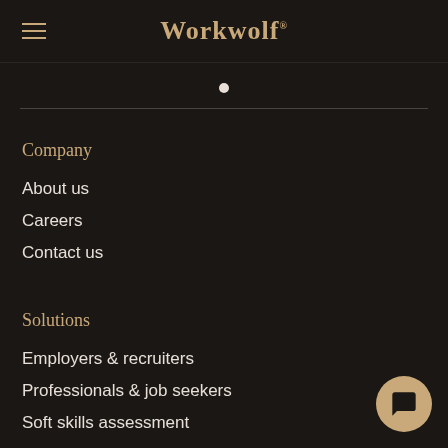Workwolf
Company
About us
Careers
Contact us
Solutions
Employers & recruiters
Professionals & job seekers
Soft skills assessment